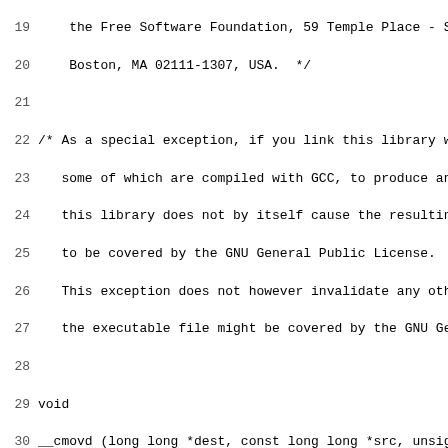Source code listing showing lines 19-50 of a C file with a comment block about GNU General Public License exception and the beginning of a __cmovd function definition.